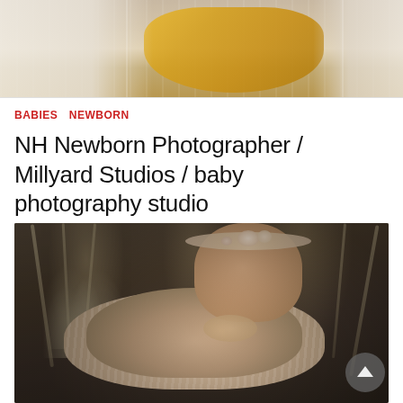[Figure (photo): Top cropped photo of a newborn baby wrapped in a mustard yellow knit wrap, with white fluffy fabric surroundings]
BABIES  NEWBORN
NH Newborn Photographer / Millyard Studios / baby photography studio
[Figure (photo): A sleeping newborn baby wearing a floral headband, nestled in a knit wrap surrounded by dried pampas grass and botanicals against a dark moody background. A circular scroll-up button appears in the bottom right corner.]